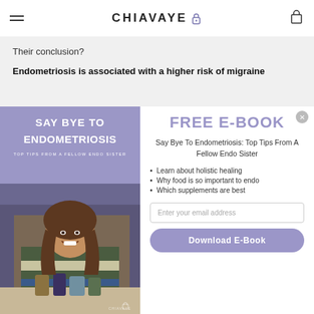CHIAVAYE
Their conclusion?
Endometriosis is associated with a higher risk of migraine
[Figure (photo): Book cover and woman photo for 'Say Bye To Endometriosis' e-book with purple overlay and woman smiling in kitchen with supplements]
FREE E-BOOK
Say Bye To Endometriosis: Top Tips From A Fellow Endo Sister
Learn about holistic healing
Why food is so important to endo
Which supplements are best
Enter your email address
Download E-Book